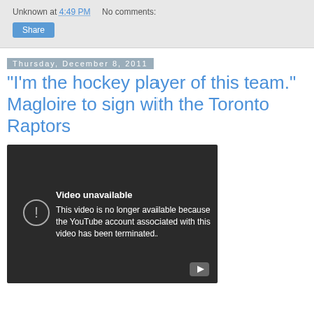Unknown at 4:49 PM   No comments:
Share
Thursday, December 8, 2011
"I'm the hockey player of this team." Magloire to sign with the Toronto Raptors
[Figure (screenshot): YouTube video unavailable screen showing message: 'Video unavailable. This video is no longer available because the YouTube account associated with this video has been terminated.' with a circle exclamation icon and YouTube play button in bottom right corner.]